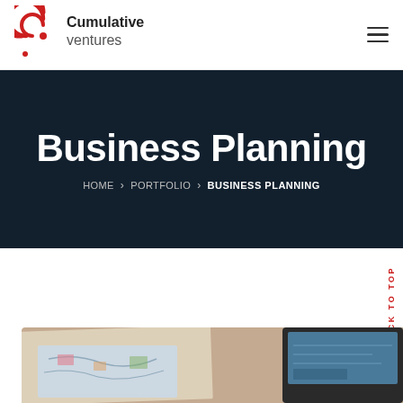[Figure (logo): Cumulative Ventures logo with red circular icon and company name]
Business Planning
HOME › PORTFOLIO › BUSINESS PLANNING
BACK TO TOP
[Figure (photo): Desk with papers, world map, and tablet device visible]